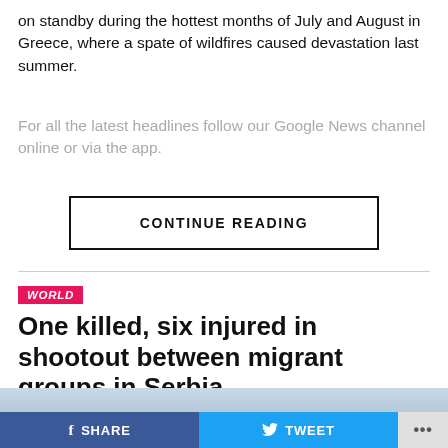on standby during the hottest months of July and August in Greece, where a spate of wildfires caused devastation last summer.
For all the latest headlines follow our Google News channel online or via the app.
CONTINUE READING
WORLD
One killed, six injured in shootout between migrant groups in Serbia
[Figure (photo): Sky/outdoor photograph at top of next article section]
SHARE   TWEET   ...